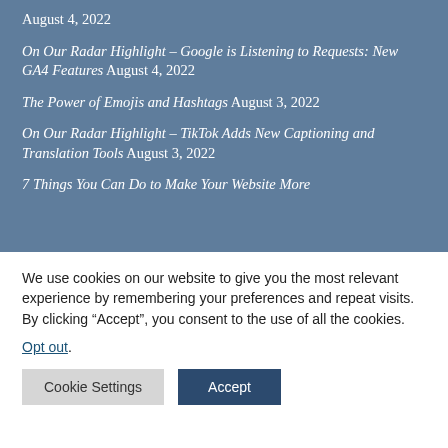August 4, 2022
On Our Radar Highlight – Google is Listening to Requests: New GA4 Features August 4, 2022
The Power of Emojis and Hashtags August 3, 2022
On Our Radar Highlight – TikTok Adds New Captioning and Translation Tools August 3, 2022
7 Things You Can Do to Make Your Website More
We use cookies on our website to give you the most relevant experience by remembering your preferences and repeat visits. By clicking “Accept”, you consent to the use of all the cookies.
Opt out.
Cookie Settings  Accept